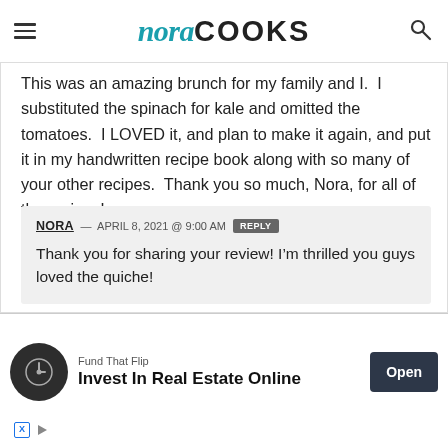nora COOKS
This was an amazing brunch for my family and I.  I substituted the spinach for kale and omitted the tomatoes.  I LOVED it, and plan to make it again, and put it in my handwritten recipe book along with so many of your other recipes.  Thank you so much, Nora, for all of the recipes!
NORA — APRIL 8, 2021 @ 9:00 AM REPLY
Thank you for sharing your review! I'm thrilled you guys loved the quiche!
Fund That Flip
Invest In Real Estate Online
Open